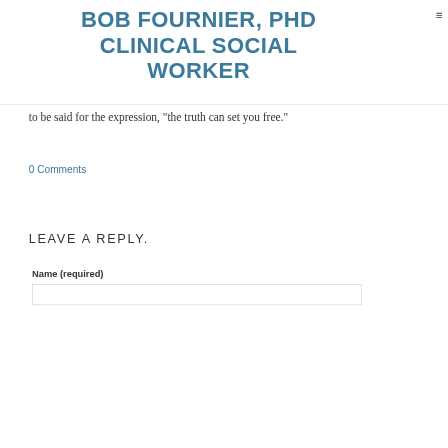BOB FOURNIER, PHD CLINICAL SOCIAL WORKER
to be said for the expression, "the truth can set you free."
0 Comments
LEAVE A REPLY.
Name (required)